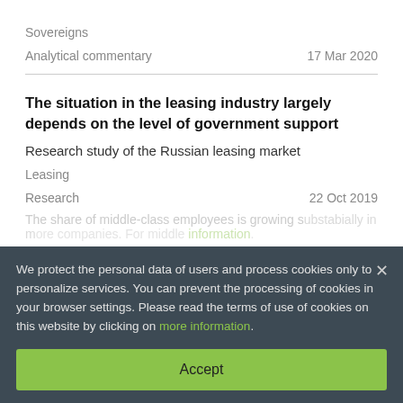Sovereigns
Analytical commentary                    17 Mar 2020
The situation in the leasing industry largely depends on the level of government support
Research study of the Russian leasing market
Leasing
Research                                  22 Oct 2019
The share of middle-class employees is growing substantially in more companies. For middle information.
Russian middle class survey
Regions & Municipalities
We protect the personal data of users and process cookies only to personalize services. You can prevent the processing of cookies in your browser settings. Please read the terms of use of cookies on this website by clicking on more information.
Accept